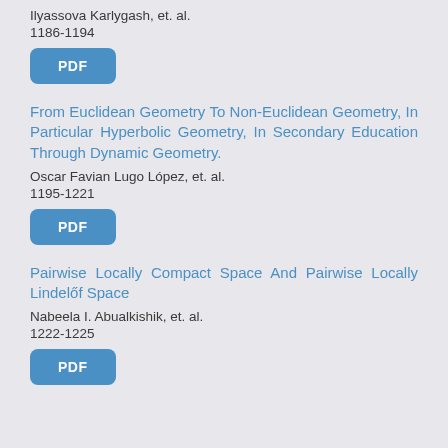Ilyassova Karlygash, et. al.
1186-1194
[Figure (other): PDF button]
From Euclidean Geometry To Non-Euclidean Geometry, In Particular Hyperbolic Geometry, In Secondary Education Through Dynamic Geometry.
Oscar Favian Lugo López, et. al.
1195-1221
[Figure (other): PDF button]
Pairwise Locally Compact Space And Pairwise Locally Lindelőf Space
Nabeela I. Abualkishik, et. al.
1222-1225
[Figure (other): PDF button]